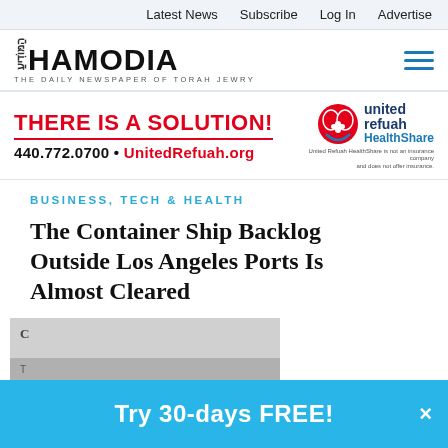Latest News  Subscribe  Log In  Advertise
[Figure (logo): Hamodia newspaper logo — THE DAILY NEWSPAPER OF TORAH JEWRY]
[Figure (infographic): United Refuah HealthShare advertisement — THERE IS A SOLUTION! 440.772.0700 • UnitedRefuah.org — United Refuah HealthShare is not an insurance company and does not offer insurance.]
BUSINESS, TECH & HEALTH
The Container Ship Backlog Outside Los Angeles Ports Is Almost Cleared
[Figure (photo): Partial view of article image, partially obscured by popup banner]
Try 30-days FREE!